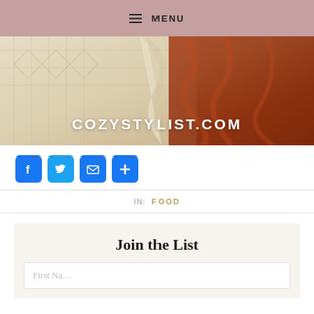≡ MENU
[Figure (photo): Folded blankets/textiles in cream and rust/orange colors with COZYSTYLIST.COM text overlay]
[Figure (infographic): Social share buttons: Facebook, Twitter, Email, More (+)]
IN: FOOD
Join the List
First Name